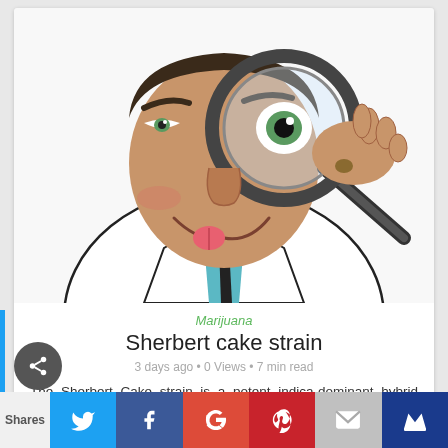[Figure (illustration): Cartoon illustration of a doctor/scientist character in a white lab coat holding a magnifying glass up to one eye, examining something. The character has green eyes, dark hair, a blue tie, and a smirking expression with tongue slightly out.]
Marijuana
Sherbert cake strain
3 days ago • 0 Views • 7 min read
The Sherbert Cake strain is a potent indica-dominant hybrid known for its unique flavor, which (not...view more